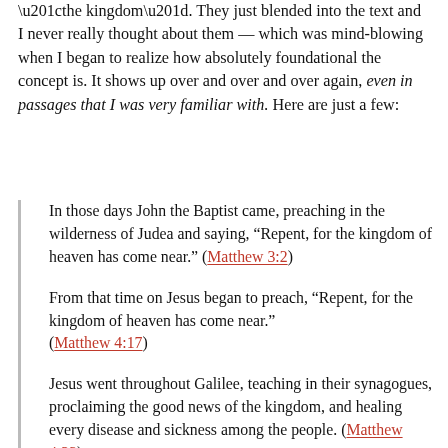“the kingdom”. They just blended into the text and I never really thought about them — which was mind-blowing when I began to realize how absolutely foundational the concept is. It shows up over and over and over again, even in passages that I was very familiar with. Here are just a few:
In those days John the Baptist came, preaching in the wilderness of Judea and saying, “Repent, for the kingdom of heaven has come near.” (Matthew 3:2)
From that time on Jesus began to preach, “Repent, for the kingdom of heaven has come near.” (Matthew 4:17)
Jesus went throughout Galilee, teaching in their synagogues, proclaiming the good news of the kingdom, and healing every disease and sickness among the people. (Matthew 4:23)
Our Father in heaven, hallowed be your name. Your kingdom come, your will be done, on earth as it is in